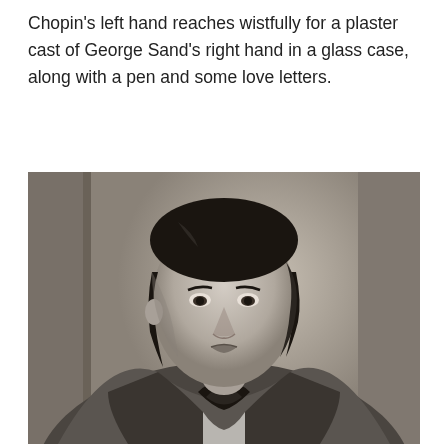Chopin's left hand reaches wistfully for a plaster cast of George Sand's right hand in a glass case, along with a pen and some love letters.
[Figure (photo): Black and white historical photograph of Frédéric Chopin, showing a young man with dark wavy hair wearing a heavy overcoat and dark cravat, looking directly at the camera against a light background with architectural elements visible.]